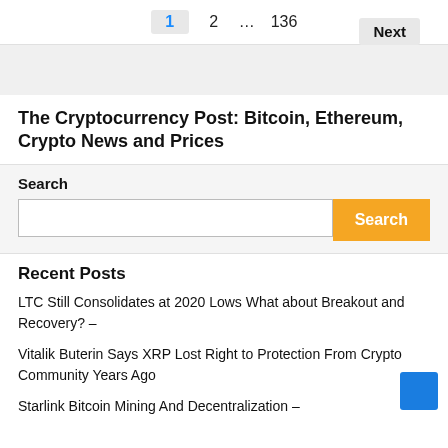1  2  ...  136  Next
The Cryptocurrency Post: Bitcoin, Ethereum, Crypto News and Prices
Search
Recent Posts
LTC Still Consolidates at 2020 Lows What about Breakout and Recovery? –
Vitalik Buterin Says XRP Lost Right to Protection From Crypto Community Years Ago
Starlink Bitcoin Mining And Decentralization –